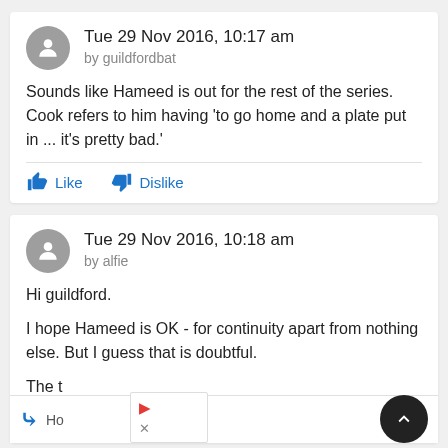Tue 29 Nov 2016, 10:17 am
by guildfordbat
Sounds like Hameed is out for the rest of the series. Cook refers to him having 'to go home and a plate put in ... it's pretty bad.'
Like   Dislike
Tue 29 Nov 2016, 10:18 am
by alfie
Hi guildford.
I hope Hameed is OK - for continuity apart from nothing else. But I guess that is doubtful.
The t
weat